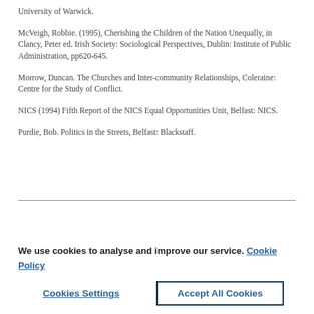University of Warwick.
McVeigh, Robbie. (1995), Cherishing the Children of the Nation Unequally, in Clancy, Peter ed. Irish Society: Sociological Perspectives, Dublin: Institute of Public Administration, pp620-645.
Morrow, Duncan. The Churches and Inter-community Relationships, Coleraine: Centre for the Study of Conflict.
NICS (1994) Fifth Report of the NICS Equal Opportunities Unit, Belfast: NICS.
Purdie, Bob. Politics in the Streets, Belfast: Blackstaff.
We use cookies to analyse and improve our service. Cookie Policy
Cookies Settings
Accept All Cookies